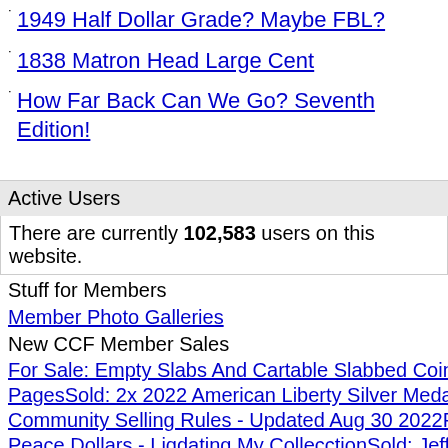1949 Half Dollar Grade? Maybe FBL?
1838 Matron Head Large Cent
How Far Back Can We Go? Seventh Edition!
Active Users
There are currently 102,583 users on this website.
Stuff for Members
Member Photo Galleries
New CCF Member Sales
For Sale: Empty Slabs And Cartable Slabbed Coins
PagesSold: 2x 2022 American Liberty Silver Medal
Community Selling Rules - Updated Aug 30 2022Fo
Peace Dollars - Liqdating My CollecctionSold: Jeffe
With Cud - No Date - 7For Sale: A Dozen Certified